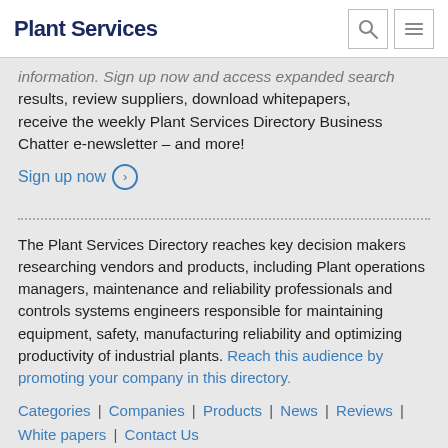Plant Services
information. Sign up now and access expanded search results, review suppliers, download whitepapers, receive the weekly Plant Services Directory Business Chatter e-newsletter – and more!
Sign up now ›
The Plant Services Directory reaches key decision makers researching vendors and products, including Plant operations managers, maintenance and reliability professionals and controls systems engineers responsible for maintaining equipment, safety, manufacturing reliability and optimizing productivity of industrial plants. Reach this audience by promoting your company in this directory.
Categories | Companies | Products | News | Reviews | White papers | Contact Us